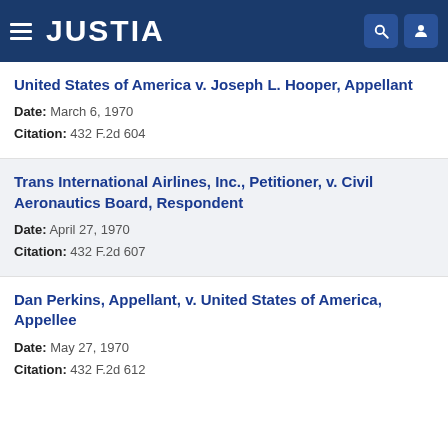JUSTIA
United States of America v. Joseph L. Hooper, Appellant
Date: March 6, 1970
Citation: 432 F.2d 604
Trans International Airlines, Inc., Petitioner, v. Civil Aeronautics Board, Respondent
Date: April 27, 1970
Citation: 432 F.2d 607
Dan Perkins, Appellant, v. United States of America, Appellee
Date: May 27, 1970
Citation: 432 F.2d 612